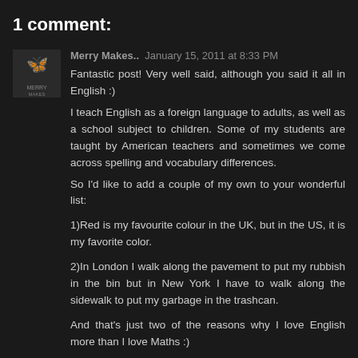1 comment:
Merry Makes..  January 15, 2011 at 8:33 PM
Fantastic post! Very well said, although you said it all in English :)
I teach English as a foreign language to adults, as well as a school subject to children. Some of my students are taught by American teachers and sometimes we come across spelling and vocabulary differences.
So I'd like to add a couple of my own to your wonderful list:

1)Red is my favourite colour in the UK, but in the US, it is my favorite color.

2)In London I walk along the pavement to put my rubbish in the bin but in New York I have to walk along the sidewalk to put my garbage in the trashcan.

And that's just two of the reasons why I love English more than I love Maths :)